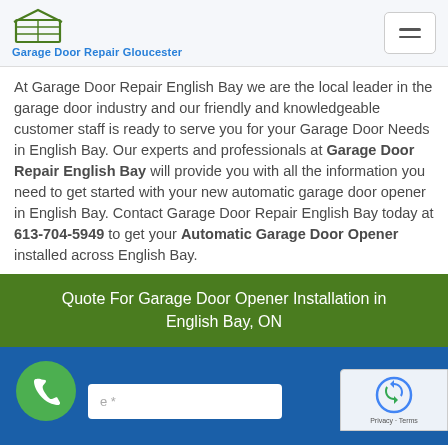Garage Door Repair Gloucester
At Garage Door Repair English Bay we are the local leader in the garage door industry and our friendly and knowledgeable customer staff is ready to serve you for your Garage Door Needs in English Bay. Our experts and professionals at Garage Door Repair English Bay will provide you with all the information you need to get started with your new automatic garage door opener in English Bay. Contact Garage Door Repair English Bay today at 613-704-5949 to get your Automatic Garage Door Opener installed across English Bay.
Quote For Garage Door Opener Installation in English Bay, ON
[Figure (infographic): Green phone icon circle with reCAPTCHA badge overlay and form input field on blue background]